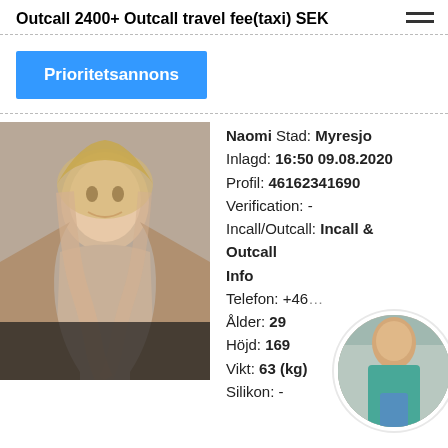Outcall 2400+ Outcall travel fee(taxi) SEK
Prioritetsannons
[Figure (photo): Photo of a young blonde woman]
Naomi Stad: Myresjo
Inlagd: 16:50 09.08.2020
Profil: 46162341690
Verification: -
Incall/Outcall: Incall & Outcall
Info
Telefon: +46...
Ålder: 29
Höjd: 169
Vikt: 63 (kg)
Silikon: -
[Figure (photo): Circular thumbnail photo of a woman in teal top and denim shorts]